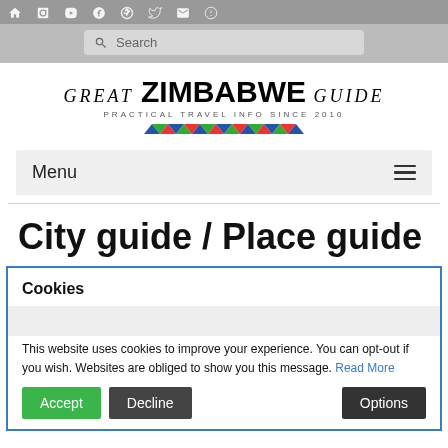Navigation icons and search bar
GREAT ZIMBABWE GUIDE — Practical Travel Info Since 2010
Menu
City guide / Place guide
Cookies
This website uses cookies to improve your experience. You can opt-out if you wish. Websites are obliged to show you this message. Read More
Accept | Decline | Options